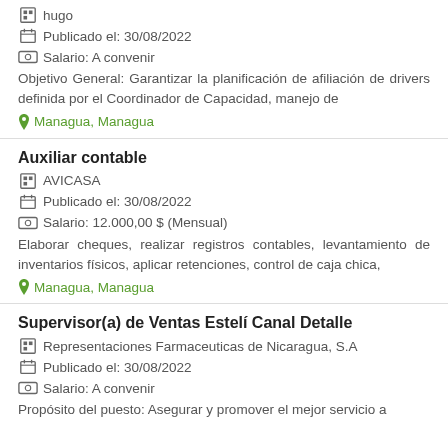hugo
Publicado el: 30/08/2022
Salario: A convenir
Objetivo General: Garantizar la planificación de afiliación de drivers definida por el Coordinador de Capacidad, manejo de
Managua, Managua
Auxiliar contable
AVICASA
Publicado el: 30/08/2022
Salario: 12.000,00 $ (Mensual)
Elaborar cheques, realizar registros contables, levantamiento de inventarios físicos, aplicar retenciones, control de caja chica,
Managua, Managua
Supervisor(a) de Ventas Estelí Canal Detalle
Representaciones Farmaceuticas de Nicaragua, S.A
Publicado el: 30/08/2022
Salario: A convenir
Propósito del puesto: Asegurar y promover el mejor servicio a